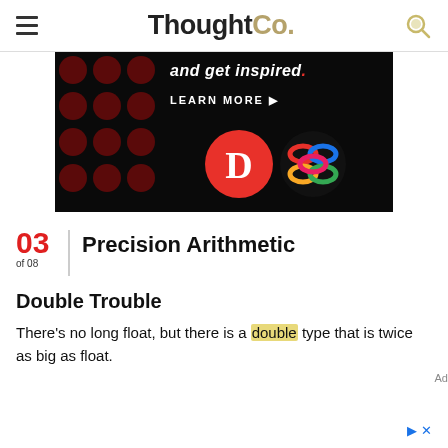ThoughtCo.
[Figure (photo): Advertisement banner with dark background, polka dot pattern, 'and get inspired.' text, LEARN MORE button, red D logo circle, and multicolored knot logo]
03 of 08  Precision Arithmetic
Double Trouble
There's no long float, but there is a double type that is twice as big as float.